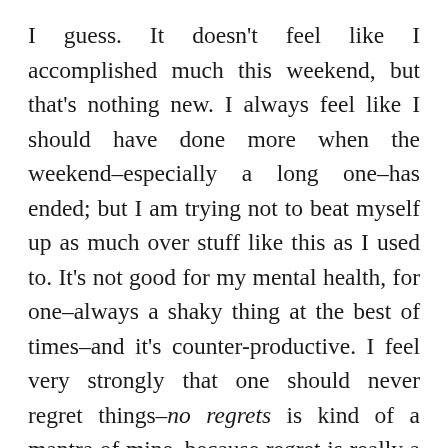I guess. It doesn't feel like I accomplished much this weekend, but that's nothing new. I always feel like I should have done more when the weekend–especially a long one–has ended; but I am trying not to beat myself up as much over stuff like this as I used to. It's not good for my mental health, for one–always a shaky thing at the best of times–and it's counter-productive. I feel very strongly that one should never regret things–no regrets is kind of a mantra of mine–because regret is really a waste of time and energy. You can't change it, after all. (I am not saying